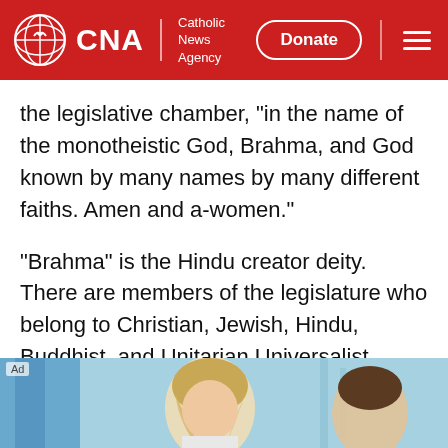CNA | Catholic News Agency — Donate
the legislative chamber, "in the name of the monotheistic God, Brahma, and God known by many names by many different faiths. Amen and a-women."
"Brahma" is the Hindu creator deity. There are members of the legislature who belong to Christian, Jewish, Hindu, Buddhist, and Unitarian Universalist faiths.
[Figure (photo): Advertisement image showing a person with blonde hair and another person in a medical or clinical setting with blue/teal background]